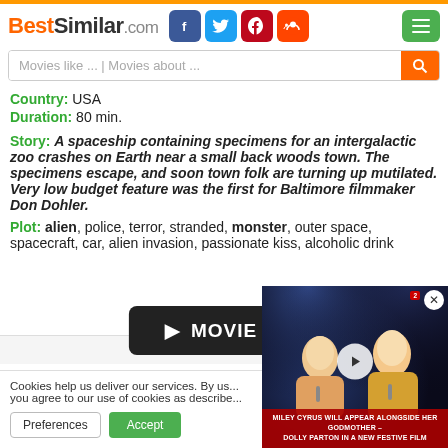BestSimilar.com
Movies like ... | Movies about ...
Country: USA
Duration: 80 min.
Story: A spaceship containing specimens for an intergalactic zoo crashes on Earth near a small back woods town. The specimens escape, and soon town folk are turning up mutilated. Very low budget feature was the first for Baltimore filmmaker Don Dohler.
Plot: alien, police, terror, stranded, monster, outer space, spacecraft, car, alien invasion, passionate kiss, alcoholic drink
[Figure (screenshot): Movie button with play icon and text MOVIE]
il simila
Cookies help us deliver our services. By us... you agree to our use of cookies as describe...
[Figure (screenshot): Video thumbnail showing two female performers on stage with caption: MILEY CYRUS WILL APPEAR ALONGSIDE HER GODMOTHER – DOLLY PARTON IN A NEW FESTIVE FILM]